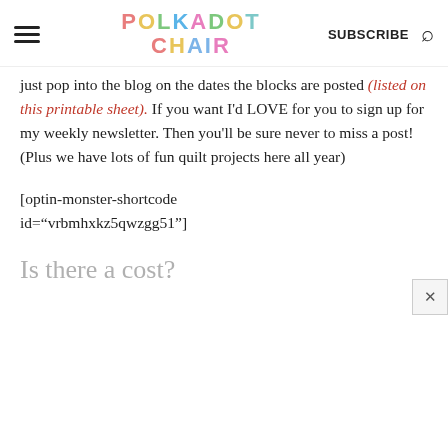POLKADOT CHAIR — SUBSCRIBE
just pop into the blog on the dates the blocks are posted (listed on this printable sheet).  If you want I'd LOVE for you to sign up for my weekly newsletter. Then you'll be sure never to miss a post! (Plus we have lots of fun quilt projects here all year)
[optin-monster-shortcode id="vrbmhxkz5qwzgg51"]
Is there a cost?